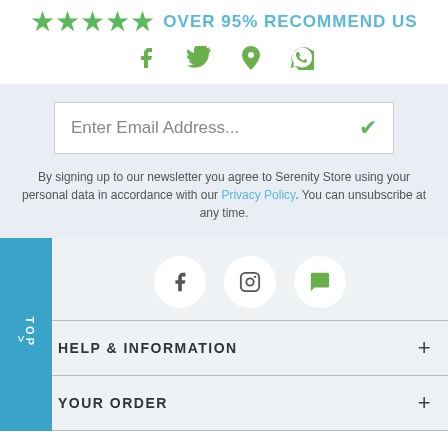[Figure (infographic): Five green stars with text 'OVER 95% RECOMMEND US' in teal/blue]
[Figure (infographic): Social media icons in green: Facebook, Twitter, Pinterest, WhatsApp]
[Figure (infographic): Email input box with placeholder 'Enter Email Address...' and green checkmark]
By signing up to our newsletter you agree to Serenity Store using your personal data in accordance with our Privacy Policy. You can unsubscribe at any time.
[Figure (infographic): Three circular social media icons: Facebook, Instagram, chat/message]
TOP
HELP & INFORMATION
YOUR ORDER